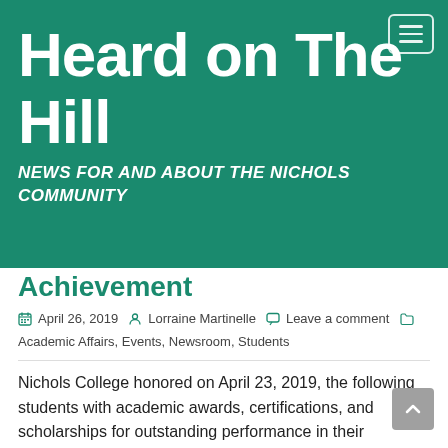Heard on The Hill
NEWS FOR AND ABOUT THE NICHOLS COMMUNITY
Achievement
April 26, 2019   Lorraine Martinelle   Leave a comment   Academic Affairs, Events, Newsroom, Students
Nichols College honored on April 23, 2019, the following students with academic awards, certifications, and scholarships for outstanding performance in their